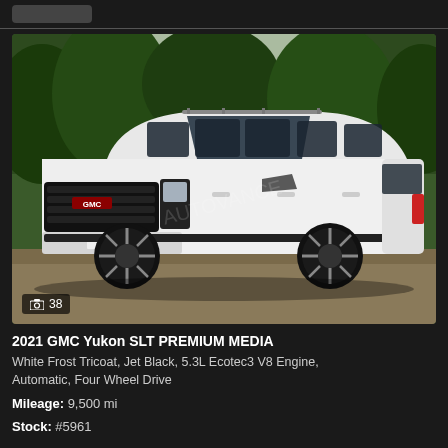[Figure (photo): 2021 GMC Yukon SLT white SUV with black wheels parked outdoors, green trees in background. Photo badge shows 38 images.]
2021 GMC Yukon SLT PREMIUM MEDIA
White Frost Tricoat, Jet Black, 5.3L Ecotec3 V8 Engine, Automatic, Four Wheel Drive
Mileage: 9,500 mi
Stock: #5961